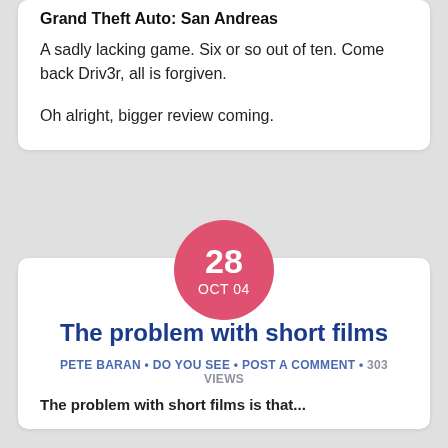Grand Theft Auto: San Andreas
A sadly lacking game. Six or so out of ten. Come back Driv3r, all is forgiven.
Oh alright, bigger review coming.
The problem with short films
PETE BARAN • DO YOU SEE • POST A COMMENT • 303 VIEWS
The problem with short films is that...